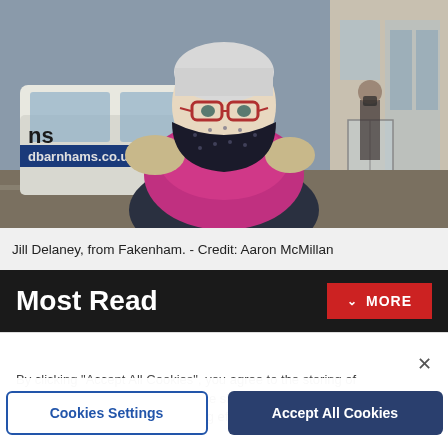[Figure (photo): Woman wearing a black polka-dot face mask, pink scarf and dark jacket, standing on a street with a white van (barnhams.co.uk) visible in the background and shop fronts.]
Jill Delaney, from Fakenham. - Credit: Aaron McMillan
Most Read
By clicking "Accept All Cookies", you agree to the storing of cookies on your device to enhance site navigation, analyze site usage, and assist in our marketing efforts.
Cookies Settings
Accept All Cookies